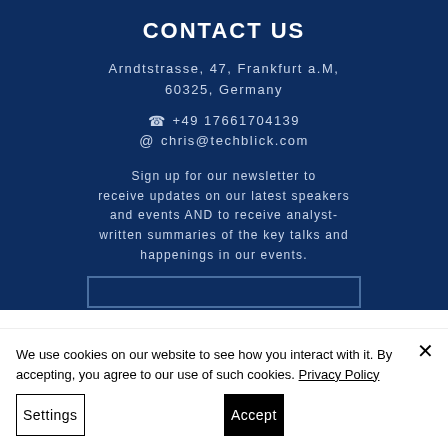CONTACT US
Arndtstrasse, 47, Frankfurt a.M, 60325, Germany
+49 17661704139
chris@techblick.com
Sign up for our newsletter to receive updates on our latest speakers and events AND to receive analyst-written summaries of the key talks and happenings in our events.
We use cookies on our website to see how you interact with it. By accepting, you agree to our use of such cookies. Privacy Policy
Settings
Accept